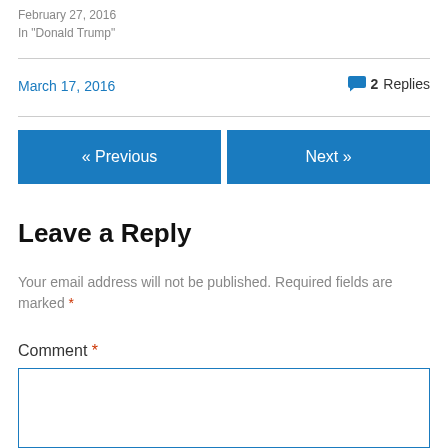February 27, 2016
In "Donald Trump"
March 17, 2016
2 Replies
« Previous
Next »
Leave a Reply
Your email address will not be published. Required fields are marked *
Comment *